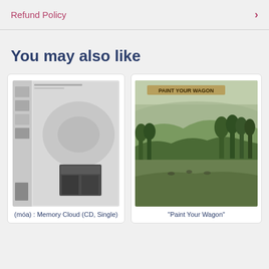Refund Policy
You may also like
[Figure (photo): Album cover for (móa) : Memory Cloud (CD, Single) - grayscale abstract image with a dark object in a gray room]
(móa) : Memory Cloud (CD, Single)
[Figure (photo): Album cover for "Paint Your Wagon" - landscape painting with trees and hills in green, brown and misty tones]
"Paint Your Wagon"